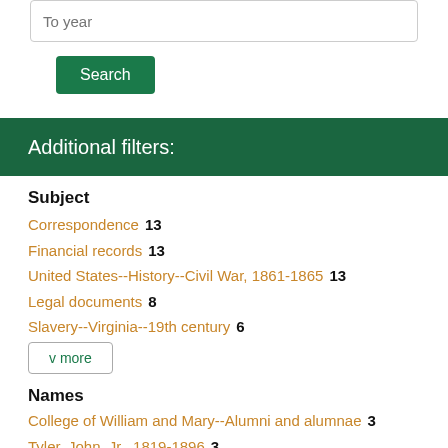To year
Search
Additional filters:
Subject
Correspondence  13
Financial records  13
United States--History--Civil War, 1861-1865  13
Legal documents  8
Slavery--Virginia--19th century  6
v more
Names
College of William and Mary--Alumni and alumnae  3
Tyler, John, Jr., 1819-1896  3
Coalter, John, 1769-1838  2
Coleman, Cynthia Beverley Tucker Washington, 1832-1909